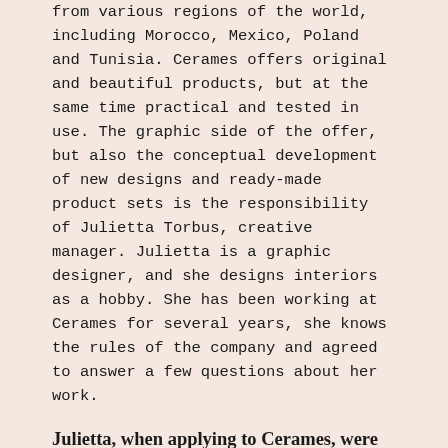from various regions of the world, including Morocco, Mexico, Poland and Tunisia. Cerames offers original and beautiful products, but at the same time practical and tested in use. The graphic side of the offer, but also the conceptual development of new designs and ready-made product sets is the responsibility of Julietta Torbus, creative manager. Julietta is a graphic designer, and she designs interiors as a hobby. She has been working at Cerames for several years, she knows the rules of the company and agreed to answer a few questions about her work.
Julietta, when applying to Cerames, were you guided by the company's product range?
Not at first. I saw an ad, I even went to the store's website, there were only products from Mexico. I found the product range to be great, it has an original artistic character and I thought it would be fun to work in a company like this. I was still very distant at the time, because I didn't even know if I would be